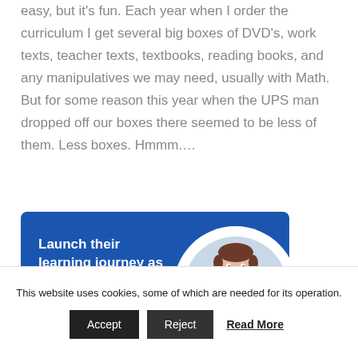easy, but it's fun. Each year when I order the curriculum I get several big boxes of DVD's, work texts, teacher texts, textbooks, reading books, and any manipulatives we may need, usually with Math. But for some reason this year when the UPS man dropped off our boxes there seemed to be less of them. Less boxes. Hmmm.…
[Figure (illustration): Advertisement banner with blue background showing text 'Launch their learning journey as they have fun' and a circular photo of a smiling child]
This website uses cookies, some of which are needed for its operation.